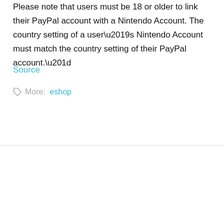Please note that users must be 18 or older to link their PayPal account with a Nintendo Account. The country setting of a user's Nintendo Account must match the country setting of their PayPal account.”
Source
More: eshop